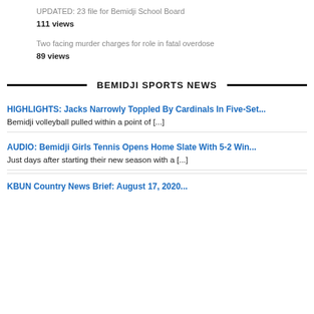UPDATED: 23 file for Bemidji School Board
111 views
Two facing murder charges for role in fatal overdose
89 views
BEMIDJI SPORTS NEWS
HIGHLIGHTS: Jacks Narrowly Toppled By Cardinals In Five-Set...
Bemidji volleyball pulled within a point of [...]
AUDIO: Bemidji Girls Tennis Opens Home Slate With 5-2 Win...
Just days after starting their new season with a [...]
KBUN Country News Brief: August 17, 2020...